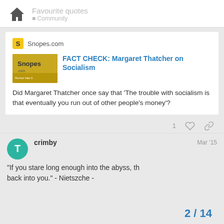Favourite quotes
[Figure (screenshot): Snopes.com link preview card showing FACT CHECK: Margaret Thatcher on Socialism with Snopes logo thumbnail]
Did Margaret Thatcher once say that 'The trouble with socialism is that eventually you run out of other people's money'?
1
crimby Mar '15
“If you stare long enough into the abyss, the abyss stares back into you.” - Nietszche -
2 / 14